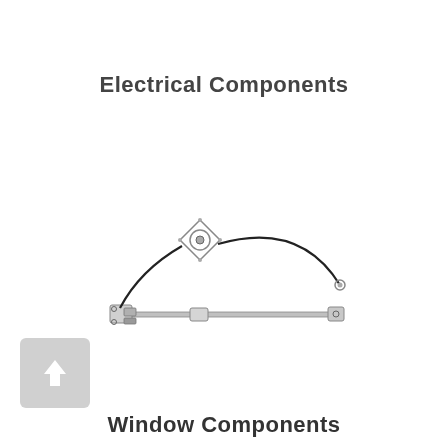Electrical Components
[Figure (engineering-diagram): A window regulator mechanism showing a motor unit (diamond-shaped bracket with circular motor at top center), connected by a curved black cable to a horizontal sliding rail assembly with end brackets and connectors. The assembly forms a triangular/fan shape.]
[Figure (other): A light grey square button with an upward-pointing arrow icon, indicating a navigation or scroll-up control.]
Window Components